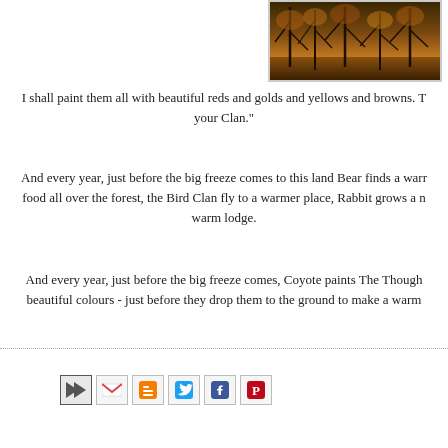[Figure (photo): Autumn forest scene with trees, reddish-brown foliage and misty atmosphere]
I shall paint them all with beautiful reds and golds and yellows and browns. T... your Clan."
And every year, just before the big freeze comes to this land Bear finds a warm... food all over the forest, the Bird Clan fly to a warmer place, Rabbit grows a ... warm lodge.
And every year, just before the big freeze comes, Coyote paints The Though... beautiful colours - just before they drop them to the ground to make a warm...
[Figure (other): Social sharing icons: email forward icon, Gmail, Blogger, Twitter, Facebook, Pinterest]